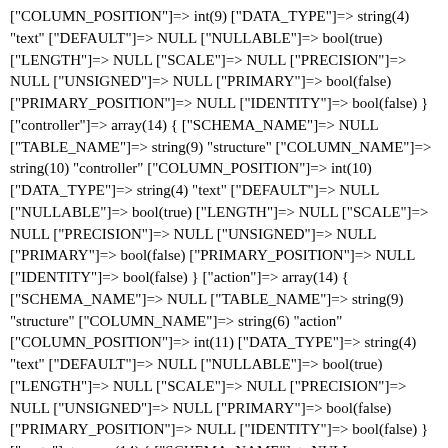["COLUMN_POSITION"]=> int(9) ["DATA_TYPE"]=> string(4) "text" ["DEFAULT"]=> NULL ["NULLABLE"]=> bool(true) ["LENGTH"]=> NULL ["SCALE"]=> NULL ["PRECISION"]=> NULL ["UNSIGNED"]=> NULL ["PRIMARY"]=> bool(false) ["PRIMARY_POSITION"]=> NULL ["IDENTITY"]=> bool(false) } ["controller"]=> array(14) { ["SCHEMA_NAME"]=> NULL ["TABLE_NAME"]=> string(9) "structure" ["COLUMN_NAME"]=> string(10) "controller" ["COLUMN_POSITION"]=> int(10) ["DATA_TYPE"]=> string(4) "text" ["DEFAULT"]=> NULL ["NULLABLE"]=> bool(true) ["LENGTH"]=> NULL ["SCALE"]=> NULL ["PRECISION"]=> NULL ["UNSIGNED"]=> NULL ["PRIMARY"]=> bool(false) ["PRIMARY_POSITION"]=> NULL ["IDENTITY"]=> bool(false) } ["action"]=> array(14) { ["SCHEMA_NAME"]=> NULL ["TABLE_NAME"]=> string(9) "structure" ["COLUMN_NAME"]=> string(6) "action" ["COLUMN_POSITION"]=> int(11) ["DATA_TYPE"]=> string(4) "text" ["DEFAULT"]=> NULL ["NULLABLE"]=> bool(true) ["LENGTH"]=> NULL ["SCALE"]=> NULL ["PRECISION"]=> NULL ["UNSIGNED"]=> NULL ["PRIMARY"]=> bool(false) ["PRIMARY_POSITION"]=> NULL ["IDENTITY"]=> bool(false) } ["route"]=> array(14) { ["SCHEMA_NAME"]=> NULL ["TABLE_NAME"]=> string(9) "structure" ["COLUMN_NAME"]=> string(5) "route" ["COLUMN_POSITION"]=> int(12) ["DATA_TYPE"]=> string(4) "text" ["DEFAULT"]=> NULL ["NULLABLE"]=> bool(true)